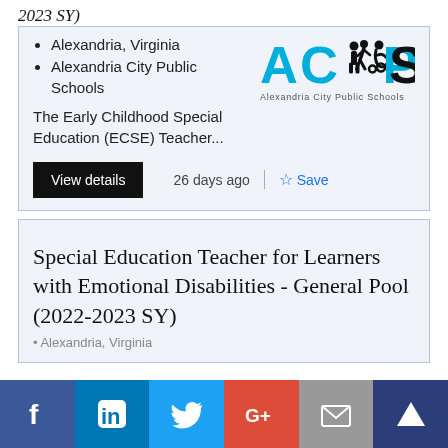Alexandria, Virginia
Alexandria City Public Schools
[Figure (logo): Alexandria City Public Schools (ACPS) logo with silhouettes of children and a wheelchair user, teal and black text]
The Early Childhood Special Education (ECSE) Teacher...
View details
26 days ago
Save
Special Education Teacher for Learners with Emotional Disabilities - General Pool (2022-2023 SY)
[Figure (logo): Social media share bar with Facebook, LinkedIn, Twitter, Google+, Email, and crown/Mimecast icons]